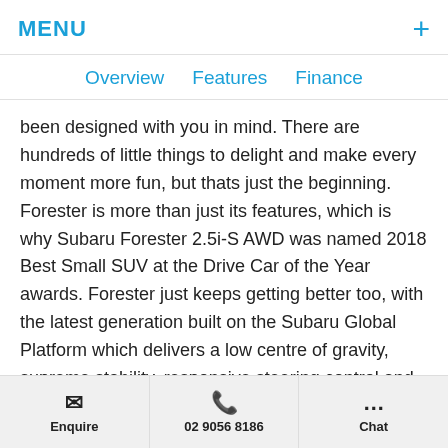MENU +
Overview   Features   Finance
been designed with you in mind. There are hundreds of little things to delight and make every moment more fun, but thats just the beginning. Forester is more than just its features, which is why Subaru Forester 2.5i-S AWD was named 2018 Best Small SUV at the Drive Car of the Year awards. Forester just keeps getting better too, with the latest generation built on the Subaru Global Platform which delivers a low centre of gravity, supreme stability, responsive steering control and a quiet cabin. Plus, the innovations keep coming, with the all-new Subaru Forester Hybrid e-Boxer which delivers increased fuel
Enquire   02 9056 8186   Chat